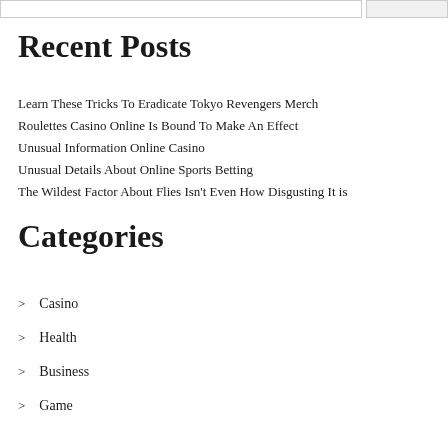Recent Posts
Learn These Tricks To Eradicate Tokyo Revengers Merch
Roulettes Casino Online Is Bound To Make An Effect
Unusual Information Online Casino
Unusual Details About Online Sports Betting
The Wildest Factor About Flies Isn't Even How Disgusting It is
Categories
Casino
Health
Business
Game